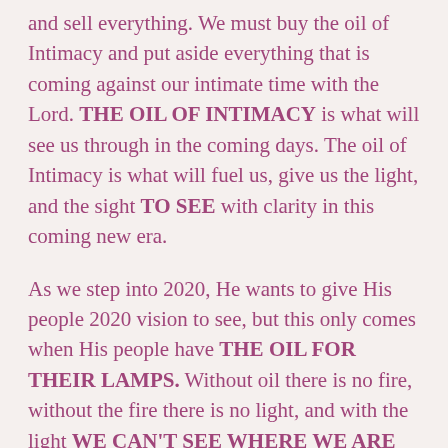and sell everything. We must buy the oil of Intimacy and put aside everything that is coming against our intimate time with the Lord. THE OIL OF INTIMACY is what will see us through in the coming days. The oil of Intimacy is what will fuel us, give us the light, and the sight TO SEE with clarity in this coming new era.
As we step into 2020, He wants to give His people 2020 vision to see, but this only comes when His people have THE OIL FOR THEIR LAMPS. Without oil there is no fire, without the fire there is no light, and with the light WE CAN'T SEE WHERE WE ARE GOING OR WHAT IS COMING!